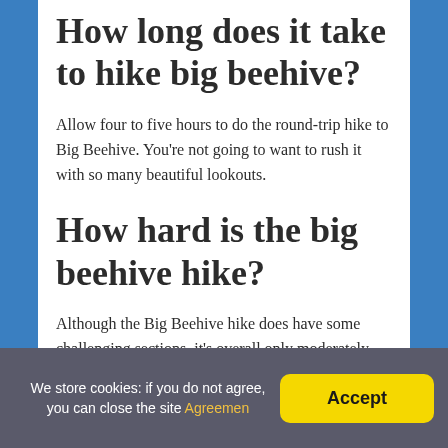How long does it take to hike big beehive?
Allow four to five hours to do the round-trip hike to Big Beehive. You're not going to want to rush it with so many beautiful lookouts.
How hard is the big beehive hike?
Although the Big Beehive hike does have some challenging sections, it's overall only moderately difficult for the average hiker. This is a popular trail so you can expect to see a lot of
We store cookies: if you do not agree, you can close the site Agreemen  Accept